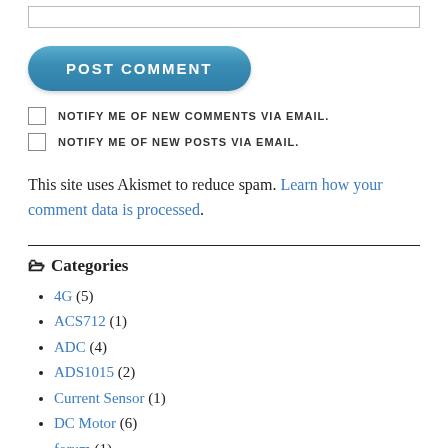[Figure (other): Input text field (form element)]
[Figure (other): POST COMMENT button, blue rounded rectangle]
NOTIFY ME OF NEW COMMENTS VIA EMAIL.
NOTIFY ME OF NEW POSTS VIA EMAIL.
This site uses Akismet to reduce spam. Learn how your comment data is processed.
Categories
4G (5)
ACS712 (1)
ADC (4)
ADS1015 (2)
Current Sensor (1)
DC Motor (6)
forum (1)
GPIO (3)
keypad (1)